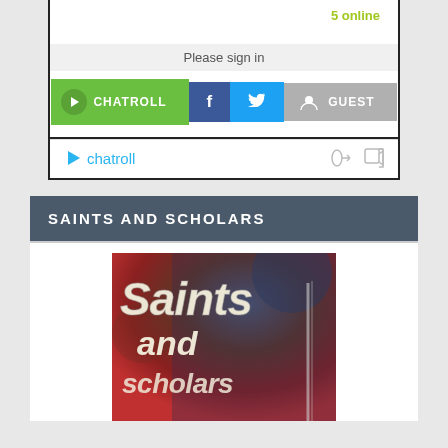[Figure (screenshot): Chatroll widget showing '5 online', 'Please sign in' bar, and login buttons: CHATROLL, Facebook, Twitter, GUEST]
SAINTS AND SCHOLARS
[Figure (photo): Saints and Scholars logo image with decorative text overlay on dark background showing 'Saints and scholars']